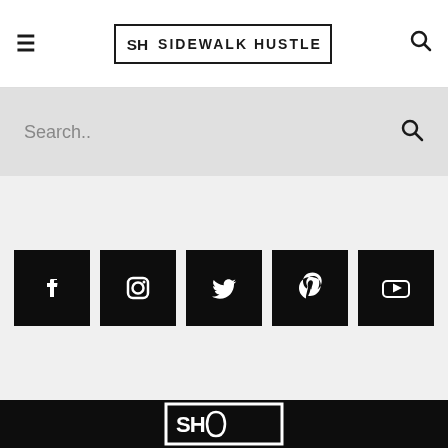≡  SIDEWALK HUSTLE  🔍
Search..
[Figure (infographic): Five social media icons on black square backgrounds: Facebook, Instagram, Twitter, Pinterest, YouTube]
[Figure (logo): Sidewalk Hustle logo - SH monogram in white on black background with white border]